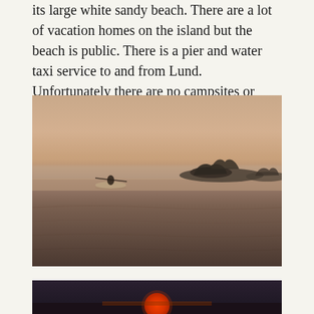its large white sandy beach. There are a lot of vacation homes on the island but the beach is public. There is a pier and water taxi service to and from Lund. Unfortunately there are no campsites or public toilets.
[Figure (photo): A kayaker paddling on calm, glassy water at dusk or dawn with small tree-covered islands visible in the misty background. The sky has a warm pinkish-orange hue.]
[Figure (photo): Partially visible photo at bottom of page showing what appears to be a sunset with an orange/red sun low on the horizon over water.]